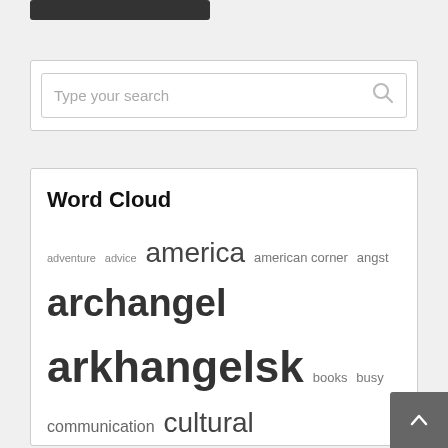[Figure (screenshot): Partial dark navigation bar at top]
Type your search (search box with magnifier icon)
Word Cloud
adventure advice america american corner angst archangel arkhangelsk books busy communication cultural differences culture culture shock doodle a day drawing english fiction food friends fulbright kyzyl language life living abroad love men moscow nanowrimo northern dvina octinsest october in search of a story river